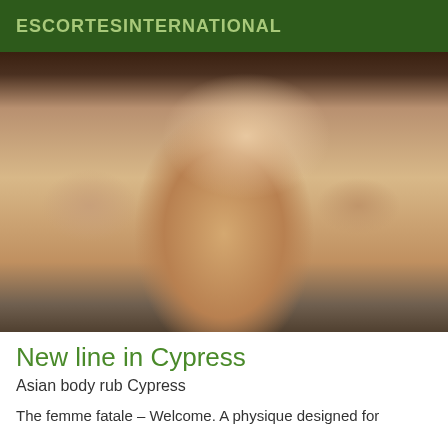ESCORTESINTERNATIONAL
[Figure (photo): A woman posing in lingerie seated on a decorative silver chair, photographed from behind, in an interior setting.]
New line in Cypress
Asian body rub Cypress
The femme fatale – Welcome. A physique designed for